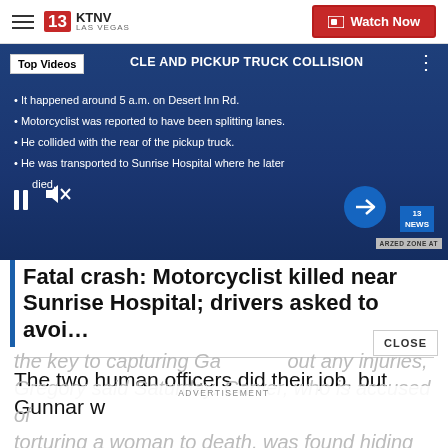KTNV LAS VEGAS | Watch Now
[Figure (screenshot): Video thumbnail with dark blue background showing bullet points: It happened around 5 a.m. on Desert Inn Rd. / Motorcyclist was reported to have been splitting lanes. / He collided with the rear of the pickup truck. / He was transported to Sunrise Hospital where he later died. Top Videos badge visible. Title overlay: CLE AND PICKUP TRUCK COLLISION. Video controls (pause, mute) visible. Arrow navigation button. Time badge 5:01. Channel bug 13 NEWS.]
Fatal crash: Motorcyclist killed near Sunrise Hospital; drivers asked to avoi…
The two human officers did their job, but Gunnar w
the key to capturing Ga out any injuries, Gregory said Saturday. Carver, who is accused of torturing a woman to death, was found hiding in the